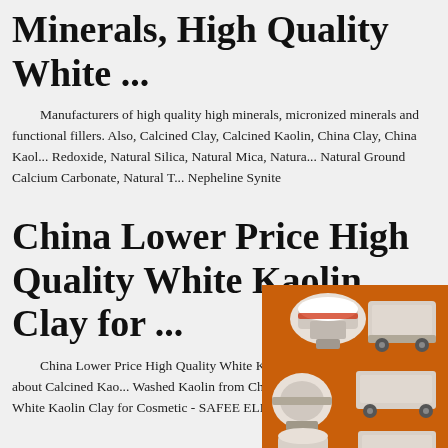Minerals, High Quality White ...
Manufacturers of high quality high minerals, micronized minerals and functional fillers. Also, Calcined Clay, Calcined Kaolin, China Clay, China Kaol... Redoxide, Natural Silica, Natural Mica, Natura... Natural Ground Calcium Carbonate, Natural T... Nepheline Synite
China Lower Price High Quality White Kaolin Clay for ...
China Lower Price High Quality White Ka... for Cosmetic, Find Details about Calcined Kao... Washed Kaolin from China Lower Price High Quality White Kaolin Clay for Cosmetic - SAFEE ELECTRIC
[Figure (illustration): Advertisement panel with orange background showing industrial mining/crushing machinery images, a yellow discount banner saying 'Enjoy 3% discount', an orange 'Click to Chat' button, an 'Enquiry' section, and email contact limingjlmofen@sina.com]